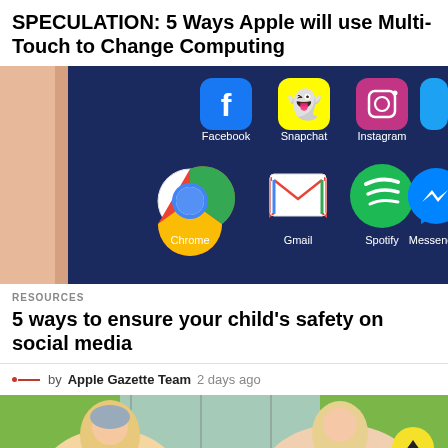SPECULATION: 5 Ways Apple will use Multi-Touch to Change Computing
[Figure (photo): Close-up of a smartphone screen showing app icons including Facebook, Snapchat, Instagram, Chrome, Gmail, Spotify, and Messenger on a dark blue background]
RESOURCES
5 ways to ensure your child's safety on social media
by Apple Gazette Team 2 days ago
[Figure (photo): Partial view of people in what appears to be a classroom or educational setting, with a yellow scroll-to-top button in the bottom right corner]